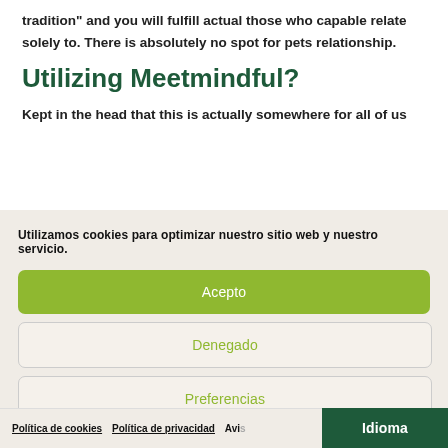tradition" and you will fulfill actual those who capable relate solely to. There is absolutely no spot for pets relationship.
Utilizing Meetmindful?
Kept in the head that this is actually somewhere for all of us
Utilizamos cookies para optimizar nuestro sitio web y nuestro servicio.
Acepto
Denegado
Preferencias
Política de cookies   Política de privacidad   Avis   Idioma